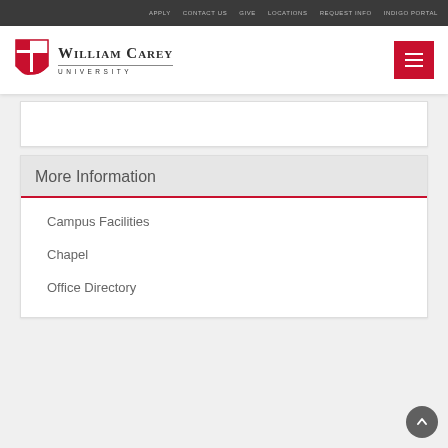APPLY  CONTACT US  GIVE  LOCATIONS  REQUEST INFO  INDIGO PORTAL
[Figure (logo): William Carey University shield logo with university name]
More Information
Campus Facilities
Chapel
Office Directory